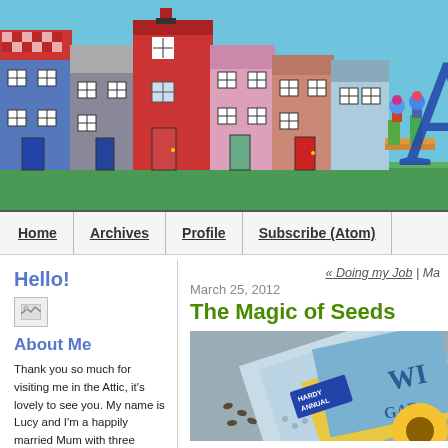[Figure (illustration): Blog header banner showing illustrated row of colorful terraced houses (blue, gray, red, pink, teal, salmon colors) on a light blue background, with a large blue letter 'A' partially visible on the right side]
Home | Archives | Profile | Subscribe (Atom)
Hello!
[Figure (illustration): Small broken/placeholder image icon in the sidebar]
About Me
Thank you so much for visiting me in the Attic, it's lovely to see you. My name is Lucy and I'm a happily married Mum with three children. We live in a cosy terraced house on the edge of the Yorkshire Dales in England which we are slowly renovating and making home. I have a passion for crochet and colour and love to share my creative journey. I hope you enjoy your
« Doing my Job | Ma
March 25, 2012
The Magic of Seeds
[Figure (photo): Photo of seed packets including one labeled 'HARDY ANNUAL' with 'WILDFLOWER GARDEN' text and a sunflower image, placed on a gray surface with some seeds scattered]